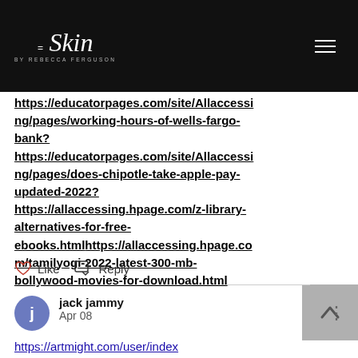=Skin by Rebecca Ferguson
https://educatorpages.com/site/Allaccessing/pages/working-hours-of-wells-fargo-bank? https://educatorpages.com/site/Allaccessing/pages/does-chipotle-take-apple-pay-updated-2022? https://allaccessing.hpage.com/z-library-alternatives-for-free-ebooks.html https://allaccessing.hpage.com/tamilyogi-2022-latest-300-mb-bollywood-movies-for-download.html
Like
Reply
jack jammy
Apr 08
https://artmight.com/user/index
https://community.windy.com/user/webslo